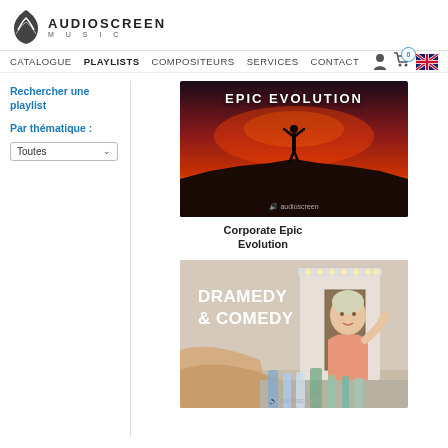AUDIOSCREEN MUSIC
CATALOGUE  PLAYLISTS  COMPOSITEURS  SERVICES  CONTACT
Rechercher une playlist
Par thématique :
Toutes
[Figure (photo): EPIC EVOLUTION playlist thumbnail - silhouette of person with arms raised against red/pink sunset sky with audioscreen watermark]
Corporate Epic Evolution
[Figure (photo): DRAMEDY & COMEDY playlist thumbnail - woman looking in mirror with toiletries in foreground and audioscreen watermark]